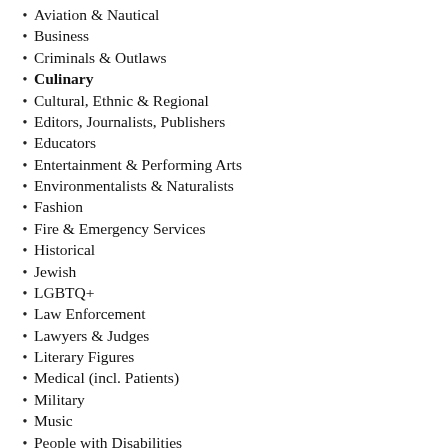Aviation & Nautical
Business
Criminals & Outlaws
Culinary
Cultural, Ethnic & Regional
Editors, Journalists, Publishers
Educators
Entertainment & Performing Arts
Environmentalists & Naturalists
Fashion
Fire & Emergency Services
Historical
Jewish
LGBTQ+
Law Enforcement
Lawyers & Judges
Literary Figures
Medical (incl. Patients)
Military
Music
People with Disabilities
Personal Memoirs